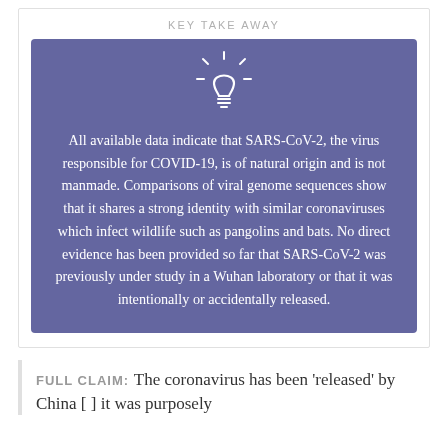KEY TAKE AWAY
All available data indicate that SARS-CoV-2, the virus responsible for COVID-19, is of natural origin and is not manmade. Comparisons of viral genome sequences show that it shares a strong identity with similar coronaviruses which infect wildlife such as pangolins and bats. No direct evidence has been provided so far that SARS-CoV-2 was previously under study in a Wuhan laboratory or that it was intentionally or accidentally released.
FULL CLAIM: The coronavirus has been 'released' by China [ ] it was purposely